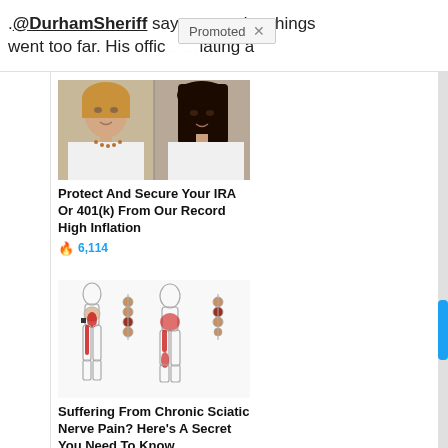.@DurhamSheriff says yesterday things went too far. His offic… [Promoted] …iating a
[Figure (photo): Two women in white jackets, side by side portrait photos (political figures).]
Protect And Secure Your IRA Or 401(k) From Our Record High Inflation
🔥 6,114
[Figure (illustration): Medical illustration showing human body outlines with red highlighted areas indicating sciatic nerve pain locations along leg and hip.]
Suffering From Chronic Sciatic Nerve Pain? Here's A Secret You Need To Know
🔥 73,319